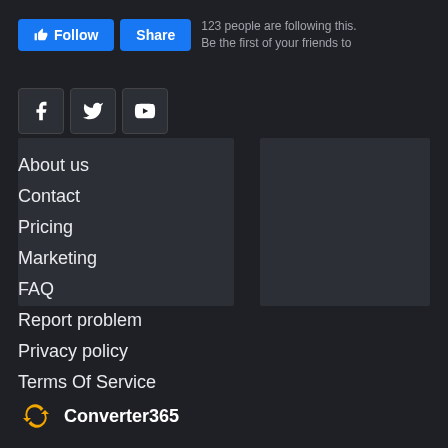[Figure (screenshot): Follow and Share buttons with follower count text: 123 people are following this. Be the first of your friends to]
123 people are following this.
Be the first of your friends to
[Figure (infographic): Social media icons: Facebook, Twitter, YouTube]
About us
Contact
Pricing
Marketing
FAQ
Report problem
Privacy policy
Terms Of Service
[Figure (logo): Converter365 logo with circular arrow icon in yellow/orange]